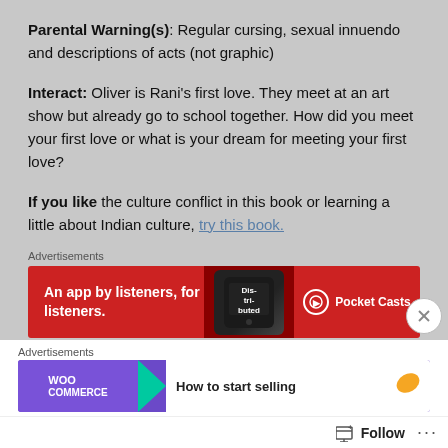Parental Warning(s): Regular cursing, sexual innuendo and descriptions of acts (not graphic)
Interact: Oliver is Rani's first love. They meet at an art show but already go to school together. How did you meet your first love or what is your dream for meeting your first love?
If you like the culture conflict in this book or learning a little about Indian culture, try this book.
[Figure (screenshot): Pocket Casts advertisement banner: red background with text 'An app by listeners, for listeners.' and phone graphic with 'Distributed' text, Pocket Casts logo]
[Figure (screenshot): WooCommerce advertisement banner: purple background with arrow, 'How to start selling' text and orange leaf graphic]
Follow